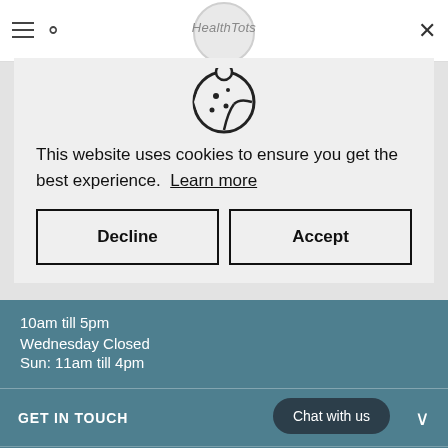Navigation bar with hamburger menu, search icon, logo, and close button
[Figure (screenshot): Cookie consent popup with cookie icon, message text, Decline and Accept buttons overlay on a website page showing opening times and footer content]
This website uses cookies to ensure you get the best experience. Learn more
Decline
Accept
10am till 5pm
Wednesday Closed
Sun: 11am till 4pm
GET IN TOUCH
BESPOKE SERVICES